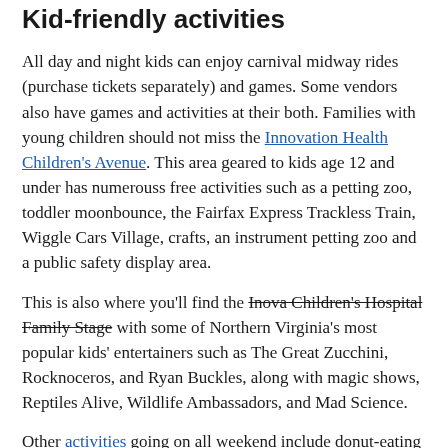Kid-friendly activities
All day and night kids can enjoy carnival midway rides (purchase tickets separately) and games. Some vendors also have games and activities at their both. Families with young children should not miss the Innovation Health Children's Avenue. This area geared to kids age 12 and under has numerouss free activities such as a petting zoo, toddler moonbounce, the Fairfax Express Trackless Train, Wiggle Cars Village, crafts, an instrument petting zoo and a public safety display area.
This is also where you'll find the Inova Children's Hospital Family Stage with some of Northern Virginia's most popular kids' entertainers such as The Great Zucchini, Rocknoceros, and Ryan Buckles, along with magic shows, Reptiles Alive, Wildlife Ambassadors, and Mad Science.
Other activities going on all weekend include donut-eating contests, karaoke competitions, and a 5K. Our favorite